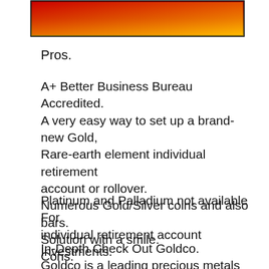[Figure (other): Gradient banner image with red-to-orange-to-yellow horizontal gradient, black border]
Pros.
A+ Better Business Bureau Accredited.
A very easy way to set up a brand-new Gold, Rare-earth element individual retirement account or rollover.
Numerous Gold/Silver coins and also bars.
Solution with a smile.
Cons.
Platinum and Palladium not available For individual retirement account Investments.
In-Depth Check Out Goldco.
Goldco is a leading precious metals supplier